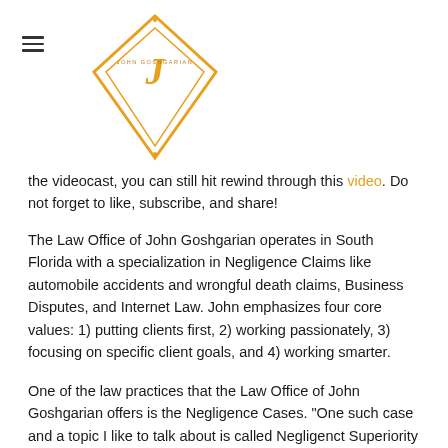John Goshgarian Law Office logo and navigation
the videocast, you can still hit rewind through this video. Do not forget to like, subscribe, and share!
The Law Office of John Goshgarian operates in South Florida with a specialization in Negligence Claims like automobile accidents and wrongful death claims, Business Disputes, and Internet Law. John emphasizes four core values: 1) putting clients first, 2) working passionately, 3) focusing on specific client goals, and 4) working smarter.
One of the law practices that the Law Office of John Goshgarian offers is the Negligence Cases. "One such case and a topic I like to talk about is called Negligenct Superiority type of cases. We live in a dangerous world and there's danger, all around, no matter where we go, we think we're in a safe environment and until something